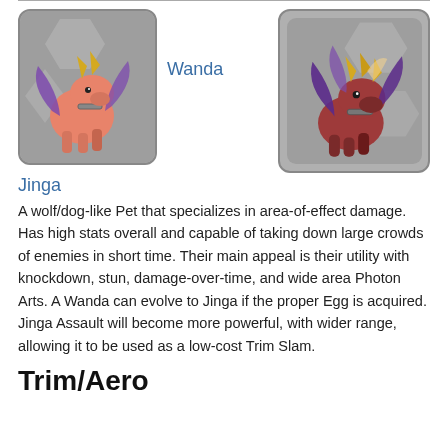[Figure (illustration): Two game pet creatures side by side. Left: Wanda, a smaller wolf/dog-like creature with pink/salmon coloring and purple wings/accents with gold horns. Right: Jinga, a larger version of the same creature type with darker red/purple coloring and gold horns, on a gray hexagonal background.]
Wanda
Jinga
A wolf/dog-like Pet that specializes in area-of-effect damage. Has high stats overall and capable of taking down large crowds of enemies in short time. Their main appeal is their utility with knockdown, stun, damage-over-time, and wide area Photon Arts. A Wanda can evolve to Jinga if the proper Egg is acquired. Jinga Assault will become more powerful, with wider range, allowing it to be used as a low-cost Trim Slam.
Trim/Aero